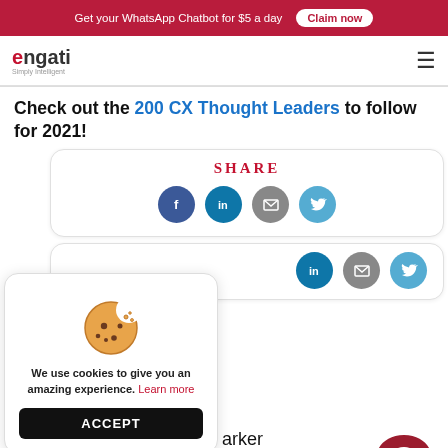Get your WhatsApp Chatbot for $5 a day  Claim now
[Figure (logo): Engati Simply Intelligent logo with hamburger menu icon]
Check out the 200 CX Thought Leaders to follow for 2021!
[Figure (infographic): SHARE card with Facebook, LinkedIn, Email, and Twitter icon circles]
[Figure (infographic): Second partial SHARE row with LinkedIn, Email, and Twitter icon circles]
[Figure (infographic): Cookie consent popup with cookie illustration, text 'We use cookies to give you an amazing experience. Learn more' and ACCEPT button]
arker
witter
[Figure (logo): Engati chat bubble logo in dark red/maroon]